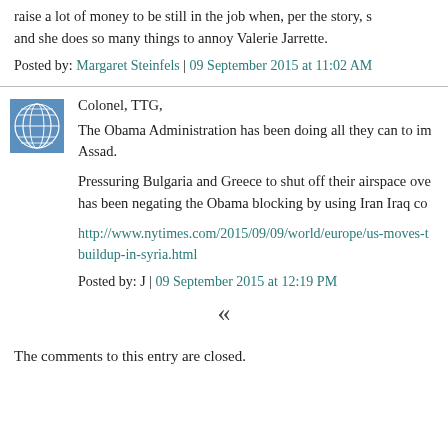raise a lot of money to be still in the job when, per the story, s and she does so many things to annoy Valerie Jarrette.
Posted by: Margaret Steinfels | 09 September 2015 at 11:02 AM
[Figure (illustration): Avatar image - blue globe/sphere wireframe illustration]
Colonel, TTG,
The Obama Administration has been doing all they can to im Assad.
Pressuring Bulgaria and Greece to shut off their airspace ove has been negating the Obama blocking by using Iran Iraq co
http://www.nytimes.com/2015/09/09/world/europe/us-moves-t buildup-in-syria.html
Posted by: J | 09 September 2015 at 12:19 PM
«
The comments to this entry are closed.